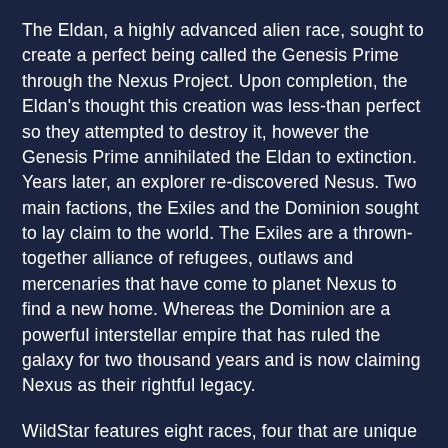The Eldan, a highly advanced alien race, sought to create a perfect being called the Genesis Prime through the Nexus Project. Upon completion, the Eldan's thought this creation was less-than perfect so they attempted to destroy it, however the Genesis Prime annihilated the Eldan to extinction. Years later, an explorer re-discovered Nesus. Two main factions, the Exiles and the Dominion sought to lay claim to the world. The Exiles are a thrown-together alliance of refugees, outlaws and mercenaries that have come to planet Nexus to find a new home. Whereas the Dominion are a powerful interstellar empire that has ruled the galaxy for two thousand years and is now claiming Nexus as their rightful legacy.
WildStar features eight races, four that are unique to the two factions. Exiles have Humans, Granock, Aurin and Mordesh, whilst the Dominion has Cassian, Mechari, Draken and Chua. I love some of the descriptions they've given to races. Humans are described as "Outcasts. Renegades. Scruffy", and Granok